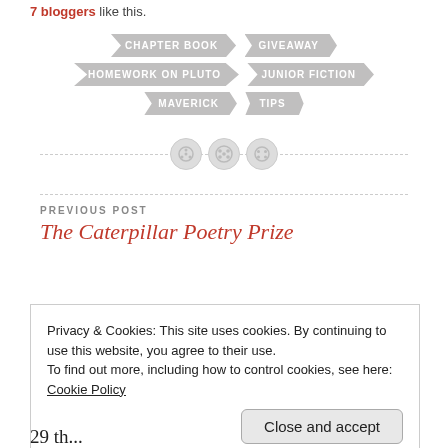7 bloggers like this.
[Figure (infographic): Tag arrow buttons: CHAPTER BOOK, GIVEAWAY, HOMEWORK ON PLUTO, JUNIOR FICTION, MAVERICK, TIPS]
[Figure (illustration): Horizontal dashed divider line with three circular button icons in the center]
PREVIOUS POST
The Caterpillar Poetry Prize
Privacy & Cookies: This site uses cookies. By continuing to use this website, you agree to their use. To find out more, including how to control cookies, see here: Cookie Policy